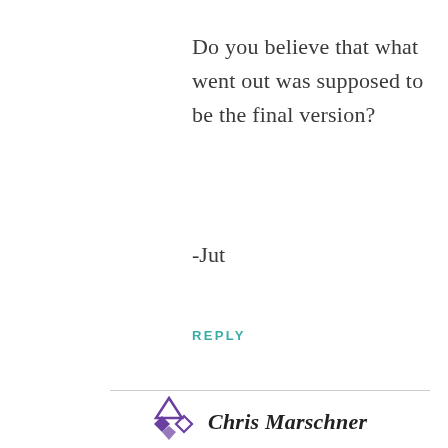Do you believe that what went out was supposed to be the final version?
-Jut
REPLY
[Figure (logo): Stylized geometric logo with triangular/diamond shapes in purple, followed by italic bold text 'Chris Marschner']